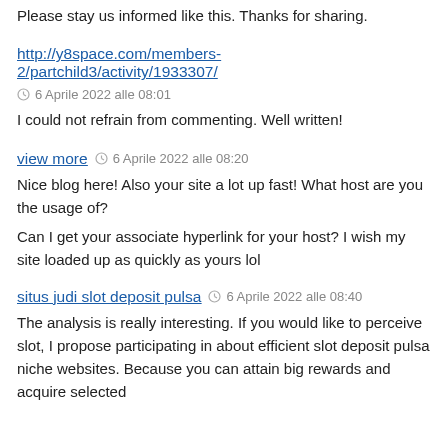Please stay us informed like this. Thanks for sharing.
http://y8space.com/members-2/partchild3/activity/1933307/
6 Aprile 2022 alle 08:01
I could not refrain from commenting. Well written!
view more  6 Aprile 2022 alle 08:20
Nice blog here! Also your site a lot up fast! What host are you the usage of?
Can I get your associate hyperlink for your host? I wish my site loaded up as quickly as yours lol
situs judi slot deposit pulsa  6 Aprile 2022 alle 08:40
The analysis is really interesting. If you would like to perceive slot, I propose participating in about efficient slot deposit pulsa niche websites. Because you can attain big rewards and acquire selected